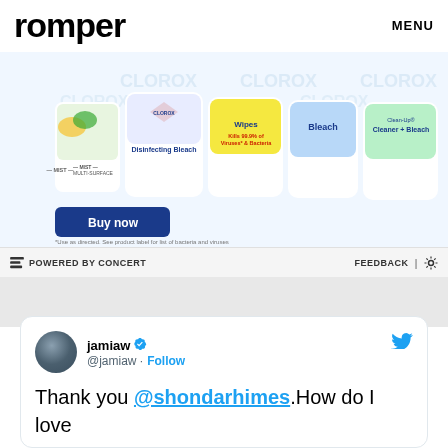romper | MENU
[Figure (photo): Clorox advertisement showing multiple Clorox cleaning products including Disinfecting Bleach, Wipes (Kills 99.9% of Viruses & Bacteria), Bleach, and Clean-Up Cleaner + Bleach. Features a blue 'Buy now' button and 'Start clean. CLOROX' tagline with Clorox diamond logo. Disclaimer text: *Use as directed. See product label for list of bacteria and viruses killed on hard surfaces and bacteria killed on soft surfaces.]
POWERED BY CONCERT | FEEDBACK
jamiaw @jamiaw · Follow
Thank you @shondarhimes.How do I love